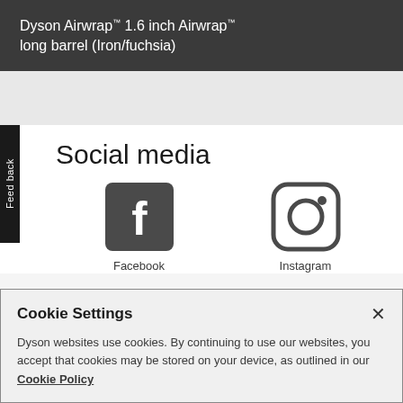Dyson Airwrap™ 1.6 inch Airwrap™ long barrel (Iron/fuchsia)
Social media
[Figure (illustration): Facebook logo (dark square with white 'f') and Instagram logo (rounded square camera icon), labeled 'Facebook' and 'Instagram' respectively]
Cookie Settings × Dyson websites use cookies. By continuing to use our websites, you accept that cookies may be stored on your device, as outlined in our Cookie Policy